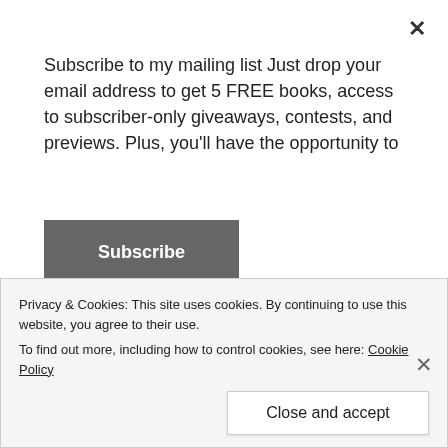Subscribe to my mailing list Just drop your email address to get 5 FREE books, access to subscriber-only giveaways, contests, and previews. Plus, you'll have the opportunity to
Subscribe
Between...
Erica Martin on Is Stratton Press a Scam?
goddessoftruthstold on Is Dreame Publishers
Privacy & Cookies: This site uses cookies. By continuing to use this website, you agree to their use.
To find out more, including how to control cookies, see here: Cookie Policy
Close and accept